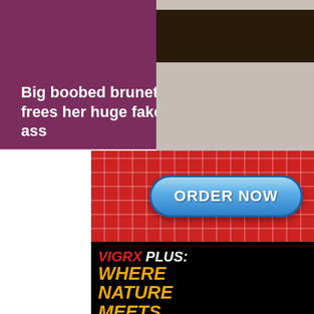Big boobed brunette Alison Tyler frees her huge fake tits & flaunts big ass
[Figure (photo): Advertisement banner: red grid background with blue 'ORDER NOW' button on top half; black background with 'VIGRX PLUS: WHERE NATURE MEETS POTENCY!' text and couple image on bottom half]
[Figure (photo): Partial photo of interior room showing dark wooden ceiling beams and white wall with air conditioning unit]